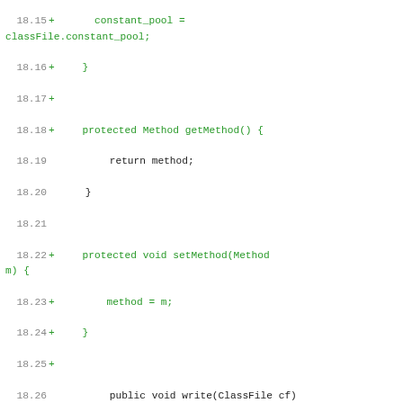Code diff showing Java source changes around lines 18.15-18.36, including additions of getMethod(), setMethod(), setClassFile() and removals of classFile/constant_pool assignments, plus context lines for write() method and if-statement logic.